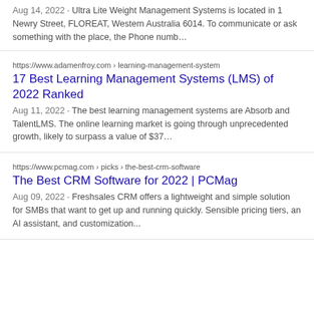Aug 14, 2022 · Ultra Lite Weight Management Systems is located in 1 Newry Street, FLOREAT, Western Australia 6014. To communicate or ask something with the place, the Phone numb…
https://www.adamenfroy.com › learning-management-system
17 Best Learning Management Systems (LMS) of 2022 Ranked
Aug 11, 2022 · The best learning management systems are Absorb and TalentLMS. The online learning market is going through unprecedented growth, likely to surpass a value of $37…
https://www.pcmag.com › picks › the-best-crm-software
The Best CRM Software for 2022 | PCMag
Aug 09, 2022 · Freshsales CRM offers a lightweight and simple solution for SMBs that want to get up and running quickly. Sensible pricing tiers, an AI assistant, and customization...